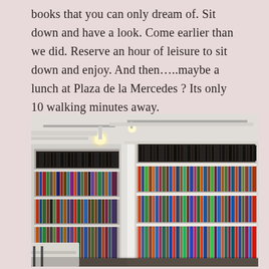books that you can only dream of. Sit down and have a look. Come earlier than we did. Reserve an hour of leisure to sit down and enjoy. And then…..maybe a lunch at Plaza de la Mercedes ? Its only 10 walking minutes away.
[Figure (photo): Interior of a modern library with tall white shelves filled with many colorful books, track lighting on the ceiling, and a white table in the foreground.]